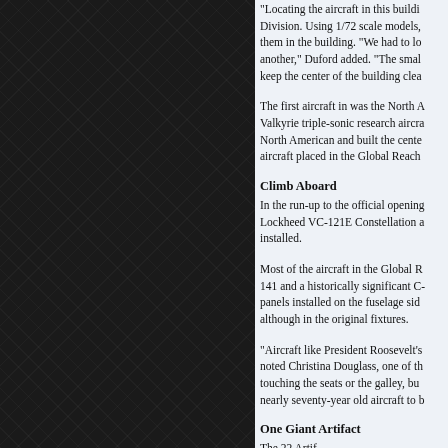[Figure (photo): Dark textured panel on the left side of the page, appearing to show a carbon fiber or woven textile pattern in dark gray/black tones.]
"Locating the aircraft in this building," Division. Using 1/72 scale models, them in the building. "We had to lo another," Duford added. "The smal keep the center of the building clea
The first aircraft in was the North A Valkyrie triple-sonic research aircra North American and built the cente aircraft placed in the Global Reach
Climb Aboard
In the run-up to the official opening Lockheed VC-121E Constellation a installed.
Most of the aircraft in the Global R 141 and a historically significant C- panels installed on the fuselage sid although in the original fixtures.
"Aircraft like President Roosevelt's noted Christina Douglass, one of th touching the seats or the galley, bu nearly seventy-year old aircraft to b
One Giant Artifact